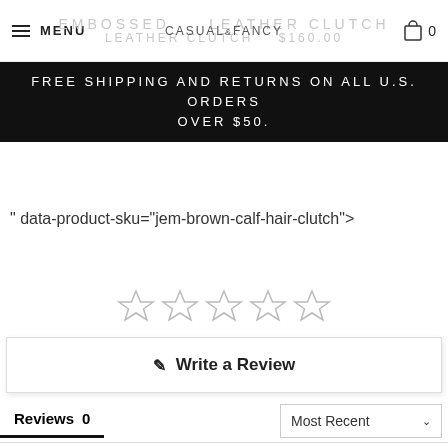MENU | CASUAL&FANCY | 0
EMBOSSED LEATHER CLUTCH  LEATHER CLUTCH  $160.00
FREE SHIPPING AND RETURNS ON ALL U.S. ORDERS OVER $50.
" data-product-sku="jem-brown-calf-hair-clutch">
[Figure (other): Five empty star rating icons]
✎  Write a Review
Reviews  0
Most Recent▾